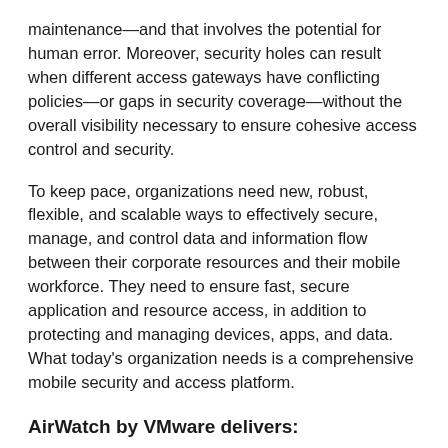maintenance—and that involves the potential for human error. Moreover, security holes can result when different access gateways have conflicting policies—or gaps in security coverage—without the overall visibility necessary to ensure cohesive access control and security.
To keep pace, organizations need new, robust, flexible, and scalable ways to effectively secure, manage, and control data and information flow between their corporate resources and their mobile workforce. They need to ensure fast, secure application and resource access, in addition to protecting and managing devices, apps, and data. What today's organization needs is a comprehensive mobile security and access platform.
AirWatch by VMware delivers:
Mobile device management
Mobile content management
Mobile application management